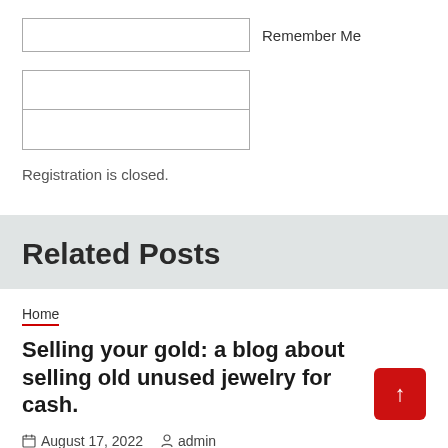[Figure (screenshot): Checkbox input field for 'Remember Me']
Remember Me
[Figure (screenshot): Two stacked input fields (username/password)]
Registration is closed.
Related Posts
Home
Selling your gold: a blog about selling old unused jewelry for cash.
August 17, 2022   admin